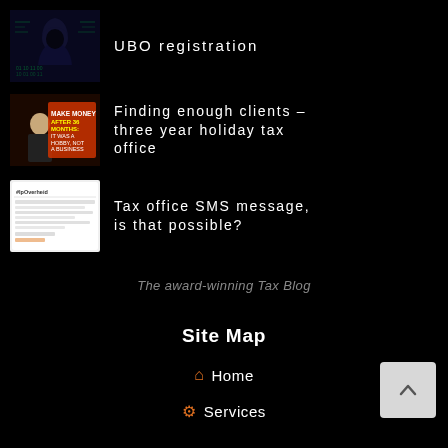[Figure (illustration): Dark hooded figure thumbnail for UBO registration article]
UBO registration
[Figure (illustration): Man in suit with text Make Money After 36 Months It Was A Hobby Not A Business thumbnail]
Finding enough clients – three year holiday tax office
[Figure (screenshot): Screenshot thumbnail of #IpOverheid text post]
Tax office SMS message, is that possible?
The award-winning Tax Blog
Site Map
Home
Services